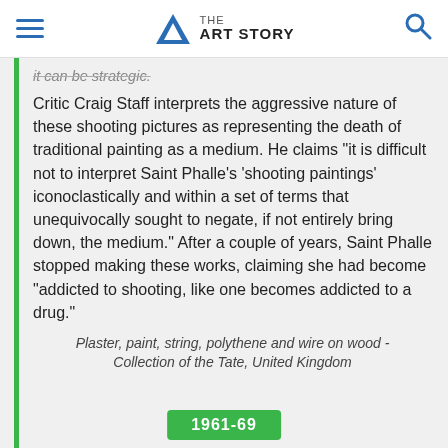THE ART STORY
it can be strategic.
Critic Craig Staff interprets the aggressive nature of these shooting pictures as representing the death of traditional painting as a medium. He claims "it is difficult not to interpret Saint Phalle's 'shooting paintings' iconoclastically and within a set of terms that unequivocally sought to negate, if not entirely bring down, the medium." After a couple of years, Saint Phalle stopped making these works, claiming she had become "addicted to shooting, like one becomes addicted to a drug."
Plaster, paint, string, polythene and wire on wood - Collection of the Tate, United Kingdom
1961-69